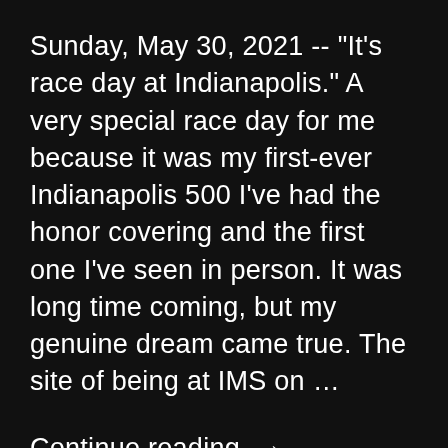Sunday, May 30, 2021 -- "It's race day at Indianapolis." A very special race day for me because it was my first-ever Indianapolis 500 I've had the honor covering and the first one I've seen in person. It was long time coming, but my genuine dream came true. The site of being at IMS on ...
Continue reading →